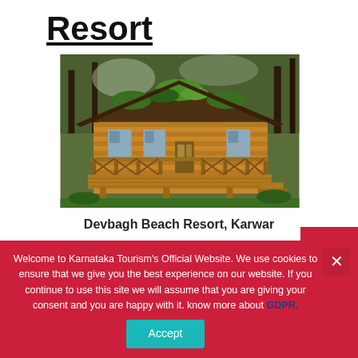Resort
[Figure (photo): Wooden cabin/bungalow with thatched roof covered in green moss, surrounded by trees, with a wooden deck/veranda and railing — Devbagh Beach Resort, Karwar]
Devbagh Beach Resort, Karwar
The resort offers a unique beach experience to visitors with its golden rides, speed boat riding, and Parasailing are some of the exciting activities you can enjoy in Devbagh. Do not forget to
Welcome to Karnataka Tourism's Official Website. We use cookies to ensure that we give you the best experience on our website. If you continue to use this site we will assume that you are giving your consent and you are happy with it. know more about GDPR.